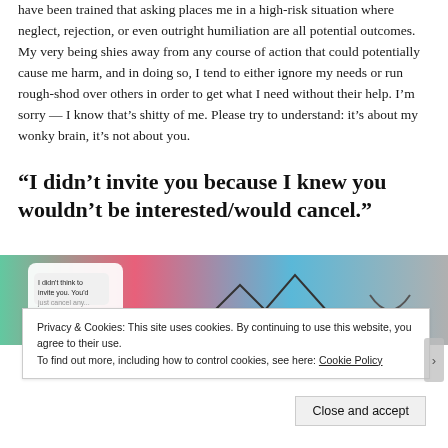have been trained that asking places me in a high-risk situation where neglect, rejection, or even outright humiliation are all potential outcomes. My very being shies away from any course of action that could potentially cause me harm, and in doing so, I tend to either ignore my needs or run rough-shod over others in order to get what I need without their help. I'm sorry — I know that's shitty of me. Please try to understand: it's about my wonky brain, it's not about you.
“I didn’t invite you because I knew you wouldn’t be interested/would cancel.”
[Figure (illustration): Illustration showing a phone screen with text 'I didn't think to invite you. You'd' on a pink/blue gradient background with simple line drawings]
Privacy & Cookies: This site uses cookies. By continuing to use this website, you agree to their use.
To find out more, including how to control cookies, see here: Cookie Policy
Close and accept